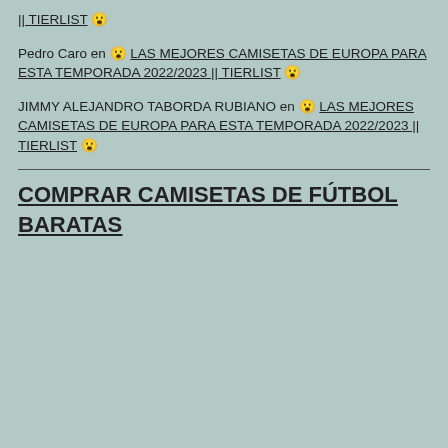|| TIERLIST 😮
Pedro Caro en 😮 LAS MEJORES CAMISETAS DE EUROPA PARA ESTA TEMPORADA 2022/2023 || TIERLIST 😮
JIMMY ALEJANDRO TABORDA RUBIANO en 😮 LAS MEJORES CAMISETAS DE EUROPA PARA ESTA TEMPORADA 2022/2023 || TIERLIST 😮
COMPRAR CAMISETAS DE FÚTBOL BARATAS